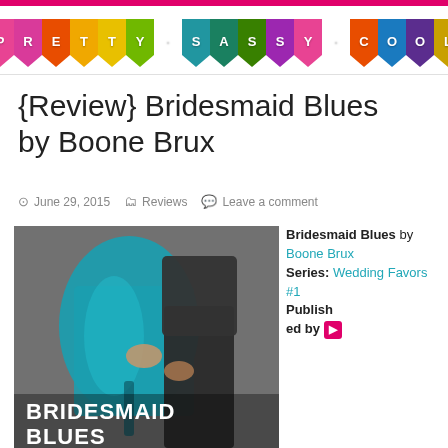Pretty Sassy Cool
{Review} Bridesmaid Blues by Boone Brux
June 29, 2015  Reviews  Leave a comment
[Figure (photo): Book cover of Bridesmaid Blues showing a woman in a teal blue satin dress and a man in dark clothing, with the title BRIDESMAID BLUES at the bottom]
Bridesmaid Blues by Boone Brux Series: Wedding Favors #1 Published by